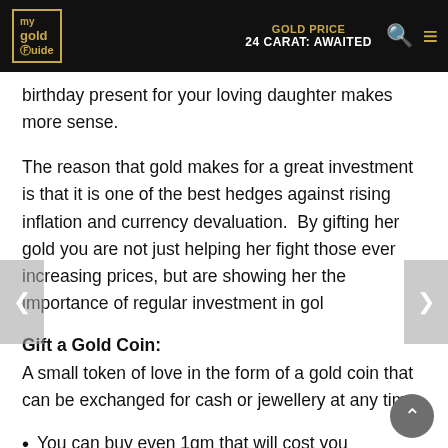my gold Guide | GOLD PRICE | 24 CARAT: AWAITED
birthday present for your loving daughter makes more sense.
The reason that gold makes for a great investment is that it is one of the best hedges against rising inflation and currency devaluation.  By gifting her gold you are not just helping her fight those ever increasing prices, but are showing her the importance of regular investment in gold
Gift a Gold Coin:
A small token of love in the form of a gold coin that can be exchanged for cash or jewellery at any time.
You can buy even 1gm that will cost you approximately